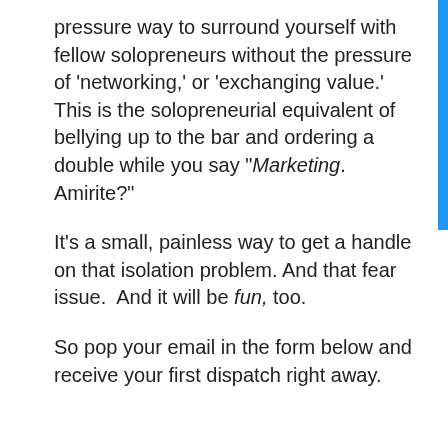pressure way to surround yourself with fellow solopreneurs without the pressure of ‘networking,’ or ‘exchanging value.’ This is the solopreneurial equivalent of bellying up to the bar and ordering a double while you say “Marketing. Amirite?”
It’s a small, painless way to get a handle on that isolation problem. And that fear issue. And it will be fun, too.
So pop your email in the form below and receive your first dispatch right away.